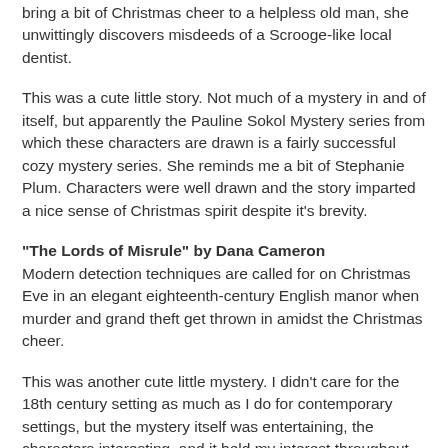bring a bit of Christmas cheer to a helpless old man, she unwittingly discovers misdeeds of a Scrooge-like local dentist.
This was a cute little story. Not much of a mystery in and of itself, but apparently the Pauline Sokol Mystery series from which these characters are drawn is a fairly successful cozy mystery series. She reminds me a bit of Stephanie Plum. Characters were well drawn and the story imparted a nice sense of Christmas spirit despite it's brevity.
"The Lords of Misrule" by Dana Cameron
Modern detection techniques are called for on Christmas Eve in an elegant eighteenth-century English manor when murder and grand theft get thrown in amidst the Christmas cheer.
This was another cute little mystery. I didn't care for the 18th century setting as much as I do for contemporary settings, but the mystery itself was entertaining, the characters interesting, and it held my interest throughout.
"The Night of Christmas" by Mary Daheim